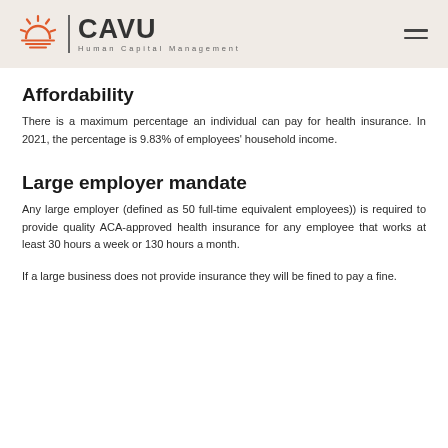CAVU Human Capital Management
Affordability
There is a maximum percentage an individual can pay for health insurance. In 2021, the percentage is 9.83% of employees' household income.
Large employer mandate
Any large employer (defined as 50 full-time equivalent employees)) is required to provide quality ACA-approved health insurance for any employee that works at least 30 hours a week or 130 hours a month.
If a large business does not provide insurance they will be fined to pay a fine.